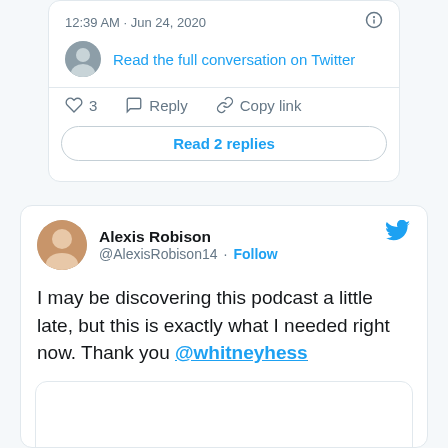12:39 AM · Jun 24, 2020
Read the full conversation on Twitter
3   Reply   Copy link
Read 2 replies
Alexis Robison @AlexisRobison14 · Follow
I may be discovering this podcast a little late, but this is exactly what I needed right now. Thank you @whitneyhess